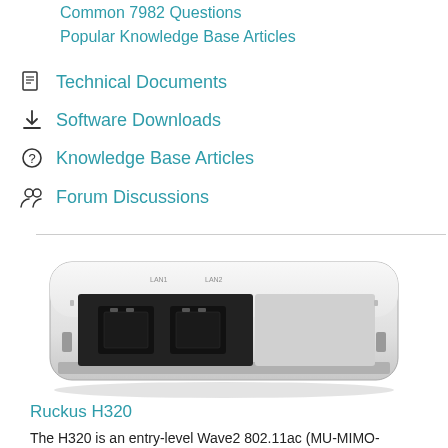Common 7982 Questions
Popular Knowledge Base Articles
Technical Documents
Software Downloads
Knowledge Base Articles
Forum Discussions
[Figure (photo): Rear view of Ruckus H320 Wi-Fi access point showing Ethernet ports on a white/grey device]
Ruckus H320
The H320 is an entry-level Wave2 802.11ac (MU-MIMO-capable) Wi-Fi access point with integrated